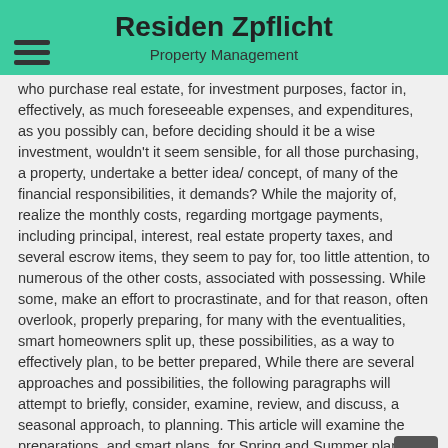Residen Zpflicht
Property Management
who purchase real estate, for investment purposes, factor in, effectively, as much foreseeable expenses, and expenditures, as you possibly can, before deciding should it be a wise investment, wouldn't it seem sensible, for all those purchasing, a property, undertake a better idea/ concept, of many of the financial responsibilities, it demands? While the majority of, realize the monthly costs, regarding mortgage payments, including principal, interest, real estate property taxes, and several escrow items, they seem to pay for, too little attention, to numerous of the other costs, associated with possessing. While some, make an effort to procrastinate, and for that reason, often overlook, properly preparing, for many with the eventualities, smart homeowners split up, these possibilities, as a way to effectively plan, to be better prepared, While there are several approaches and possibilities, the following paragraphs will attempt to briefly, consider, examine, review, and discuss, a seasonal approach, to planning. This article will examine the preparations, and smart plans, for Spring and Summer planning and maintenance.